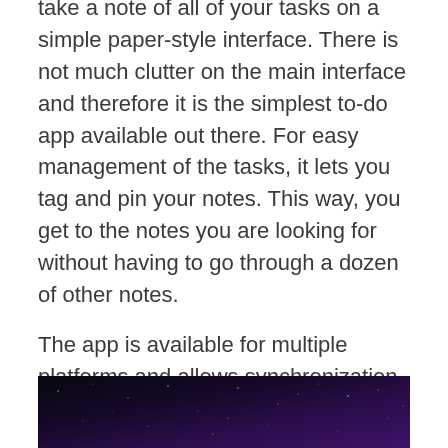take a note of all of your tasks on a simple paper-style interface. There is not much clutter on the main interface and therefore it is the simplest to-do app available out there. For easy management of the tasks, it lets you tag and pin your notes. This way, you get to the notes you are looking for without having to go through a dozen of other notes.
The app is available for multiple platforms and allows synchronization across your devices.
2. TaskMate
[Figure (photo): Dark starry night sky background image with purple/blue gradient]